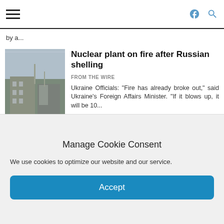[hamburger menu] [facebook icon] [search icon]
by a...
Nuclear plant on fire after Russian shelling
FROM THE WIRE
Ukraine Officials: "Fire has already broke out," said Ukraine's Foreign Affairs Minister. "If it blows up, it will be 10...
[Figure (photo): Photo of a nuclear plant building exterior]
Trump endorses Oath Keeper's plan to seize control of the Republican Party
FROM THE WIRE
The "precinct strategy" widely promoted by Steve Bannon has already inspired thousands of Trump supporters to fill local GOP positions.
[Figure (photo): Photo of a person at a podium in dark lighting]
Manage Cookie Consent
We use cookies to optimize our website and our service.
Accept